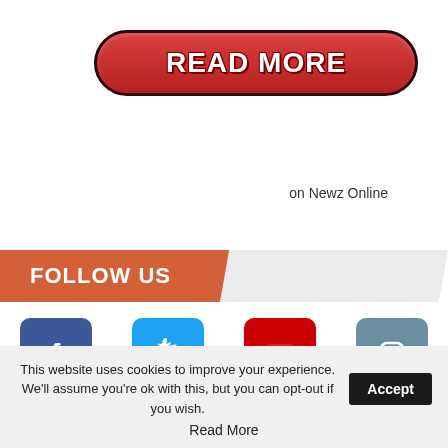[Figure (illustration): Red rounded rectangle button with white bold text 'READ MORE' and dark border, styled like a call-to-action button]
on Newz Online
FOLLOW US
[Figure (illustration): Four social media icons in a row: Facebook (blue square with 'f'), Twitter (light blue square with bird), Youtube (red square with play button), Instagram (slate blue square with camera icon). Labels below: Facebook, 422, Youtube, Instagram]
This website uses cookies to improve your experience. We'll assume you're ok with this, but you can opt-out if you wish. Accept Read More